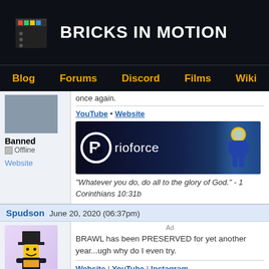BRICKS IN MOTION
Blog | Forums | Discord | Films | Wiki
once again.
YouTube • Website
[Figure (illustration): Rioforce banner with logo and LEGO astronaut]
"Whatever you do, do all to the glory of God." - 1 Corinthians 10:31b
Banned
Offline
Website
Spudson   June 20, 2020 (06:37pm)
Ad
BRAWL has been PRESERVED for yet another year...ugh why do I even try.
Website | YouTube | Instagram
Member